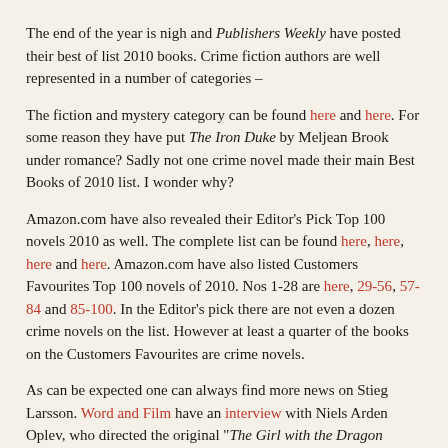The end of the year is nigh and Publishers Weekly have posted their best of list 2010 books. Crime fiction authors are well represented in a number of categories –
The fiction and mystery category can be found here and here. For some reason they have put The Iron Duke by Meljean Brook under romance? Sadly not one crime novel made their main Best Books of 2010 list. I wonder why?
Amazon.com have also revealed their Editor's Pick Top 100 novels 2010 as well. The complete list can be found here, here, here and here. Amazon.com have also listed Customers Favourites Top 100 novels of 2010. Nos 1-28 are here, 29-56, 57-84 and 85-100. In the Editor's pick there are not even a dozen crime novels on the list. However at least a quarter of the books on the Customers Favourites are crime novels.
As can be expected one can always find more news on Stieg Larsson. Word and Film have an interview with Niels Arden Oplev, who directed the original "The Girl with the Dragon Tattoo," about why women want to be Lisabeth Salander.